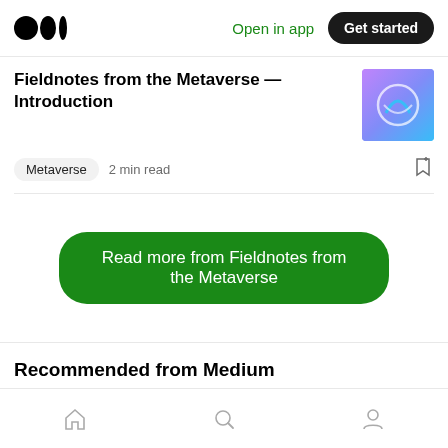Medium logo | Open in app | Get started
Fieldnotes from the Metaverse — Introduction
Metaverse  2 min read
Read more from Fieldnotes from the Metaverse
Recommended from Medium